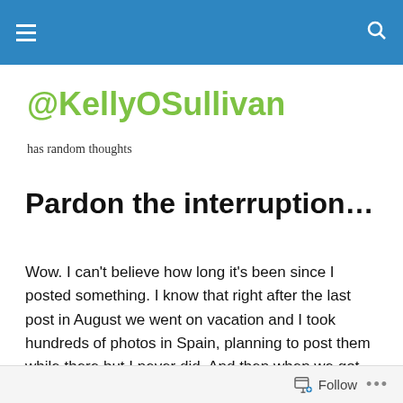@KellyOSullivan - navigation header bar
@KellyOSullivan
has random thoughts
Pardon the interruption…
Wow. I can't believe how long it's been since I posted something. I know that right after the last post in August we went on vacation and I took hundreds of photos in Spain, planning to post them while there but I never did. And then when we got back I got really busy with work and also I was just a bit overwhelmed by all the stuff I *could*
Follow